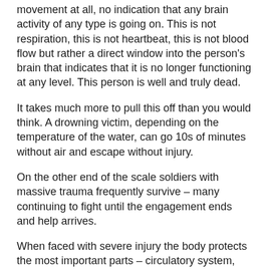movement at all, no indication that any brain activity of any type is going on. This is not respiration, this is not heartbeat, this is not blood flow but rather a direct window into the person's brain that indicates that it is no longer functioning at any level. This person is well and truly dead.
It takes much more to pull this off than you would think. A drowning victim, depending on the temperature of the water, can go 10s of minutes without air and escape without injury.
On the other end of the scale soldiers with massive trauma frequently survive – many continuing to fight until the engagement ends and help arrives.
When faced with severe injury the body protects the most important parts – circulatory system, pulmonary system and finally our ability to think and run our bodies – our brains. Physiologically our bodies will do whatever it takes to protect the “who we are” portion of our bodies, our brains while sucking up tremendous damage. We are not killed easily.
We also can intervene in this process by chemically altering